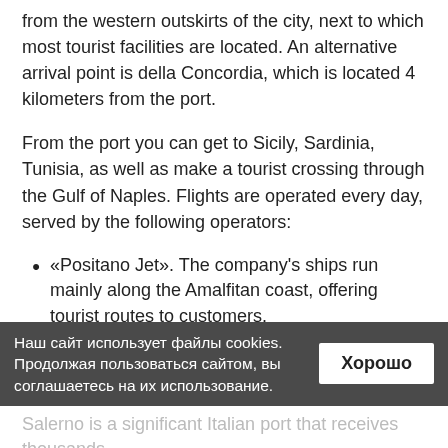from the western outskirts of the city, next to which most tourist facilities are located. An alternative arrival point is della Concordia, which is located 4 kilometers from the port.
From the port you can get to Sicily, Sardinia, Tunisia, as well as make a tourist crossing through the Gulf of Naples. Flights are operated every day, served by the following operators:
«Positano Jet». The company's ships run mainly along the Amalfitan coast, offering tourist routes to customers.
«Travelmar». The organization specializes in crossings between Salerno, Positano and Amalfi.
«NLG». A large ferry operator offering fast and comfortable crossings throughout the Gulf of Naples.
«Grimaldi Lines». The company offers tourist flights on large comfortable ferries with a wide range of.
Salerno is a significant Italian port that receives thousands